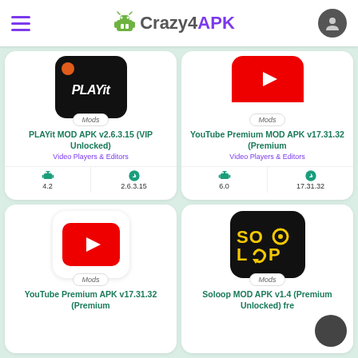Crazy4APK
[Figure (screenshot): PLAYit app icon - black background with orange dot and PLAYit text]
Mods
PLAYit MOD APK v2.6.3.15 (VIP Unlocked)
Video Players & Editors
4.2  2.6.3.15
[Figure (screenshot): YouTube app icon - red background with white play button triangle]
Mods
YouTube Premium MOD APK v17.31.32 (Premium
Video Players & Editors
6.0  17.31.32
[Figure (screenshot): YouTube app icon - red background with white play button]
Mods
YouTube Premium APK v17.31.32 (Premium
[Figure (screenshot): Soloop app icon - black background with yellow SOLOOP text]
Mods
Soloop MOD APK v1.4 (Premium Unlocked) fre